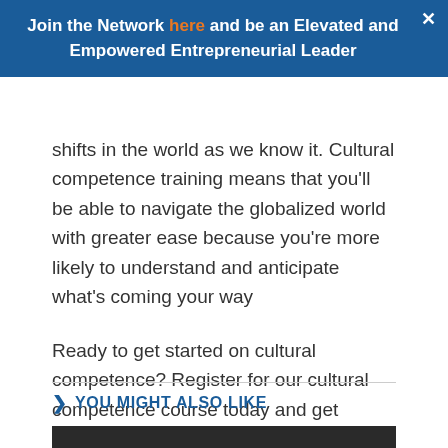Join the Network here and be an Elevated and Empowered Entrepreneurial Leader
shifts in the world as we know it. Cultural competence training means that you'll be able to navigate the globalized world with greater ease because you're more likely to understand and anticipate what's coming your way
Ready to get started on cultural competence? Register for our cultural competence course today and get acquainted with the right skill.
YOU MIGHT ALSO LIKE
[Figure (photo): Dark image preview at the bottom of the page]